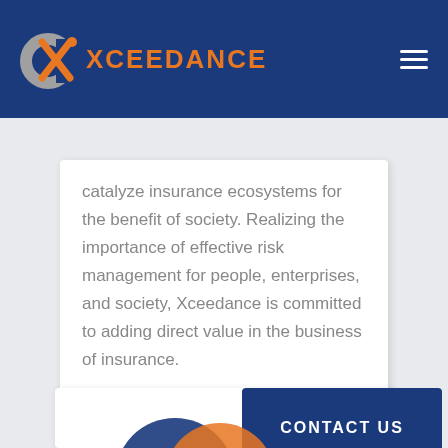XCEEDANCE
catalyze insurance ecosystems for the benefit of society. Realizing the importance of effective risk management for people, enterprises, and society, Xceedance is committed to adding direct value in the business of insurance.
CONTACT US